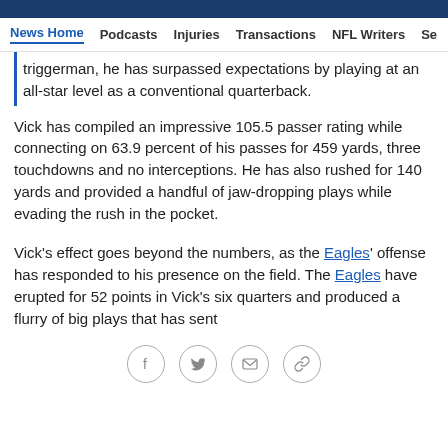News Home  Podcasts  Injuries  Transactions  NFL Writers  Se
triggerman, he has surpassed expectations by playing at an all-star level as a conventional quarterback.
Vick has compiled an impressive 105.5 passer rating while connecting on 63.9 percent of his passes for 459 yards, three touchdowns and no interceptions. He has also rushed for 140 yards and provided a handful of jaw-dropping plays while evading the rush in the pocket.
Vick's effect goes beyond the numbers, as the Eagles' offense has responded to his presence on the field. The Eagles have erupted for 52 points in Vick's six quarters and produced a flurry of big plays that has sent